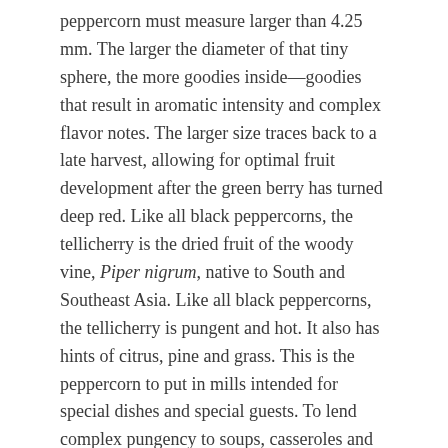peppercorn must measure larger than 4.25 mm. The larger the diameter of that tiny sphere, the more goodies inside—goodies that result in aromatic intensity and complex flavor notes. The larger size traces back to a late harvest, allowing for optimal fruit development after the green berry has turned deep red. Like all black peppercorns, the tellicherry is the dried fruit of the woody vine, Piper nigrum, native to South and Southeast Asia. Like all black peppercorns, the tellicherry is pungent and hot. It also has hints of citrus, pine and grass. This is the peppercorn to put in mills intended for special dishes and special guests. To lend complex pungency to soups, casseroles and sauces, add a cheesecloth pouch containing tellicherry peppercorns during the cooking process. Remove before serving.
Purists claim the tellicherry must come from Tellicherry, India, or at very least Kerala State on the subcontinent's